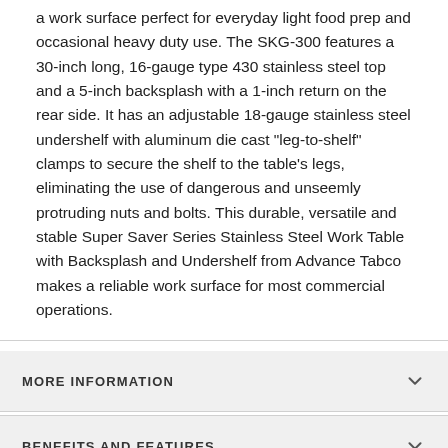a work surface perfect for everyday light food prep and occasional heavy duty use. The SKG-300 features a 30-inch long, 16-gauge type 430 stainless steel top and a 5-inch backsplash with a 1-inch return on the rear side. It has an adjustable 18-gauge stainless steel undershelf with aluminum die cast "leg-to-shelf" clamps to secure the shelf to the table's legs, eliminating the use of dangerous and unseemly protruding nuts and bolts. This durable, versatile and stable Super Saver Series Stainless Steel Work Table with Backsplash and Undershelf from Advance Tabco makes a reliable work surface for most commercial operations.
MORE INFORMATION
BENEFITS AND FEATURES
SKG-300 Certifications